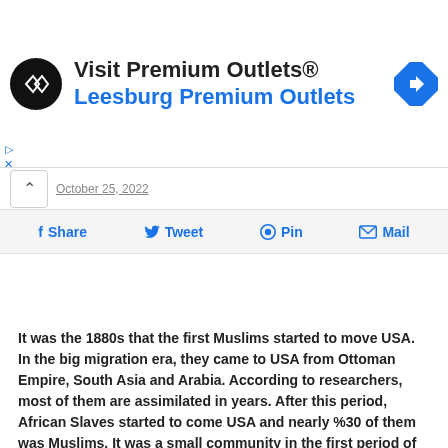[Figure (screenshot): Advertisement banner for 'Visit Premium Outlets® Leesburg Premium Outlets' with a black circular logo with double arrow icon and a blue diamond navigation icon on the right.]
October 25, 2022
f Share   🐦 Tweet   📌 Pin   ✉ Mail
It was the 1880s that the first Muslims started to move USA. In the big migration era, they came to USA from Ottoman Empire, South Asia and Arabia. According to researchers, most of them are assimilated in years. After this period, African Slaves started to come USA and nearly %30 of them was Muslims. It was a small community in the first period of 1900s but after 1950 they started to grow with conversion and immigration. After